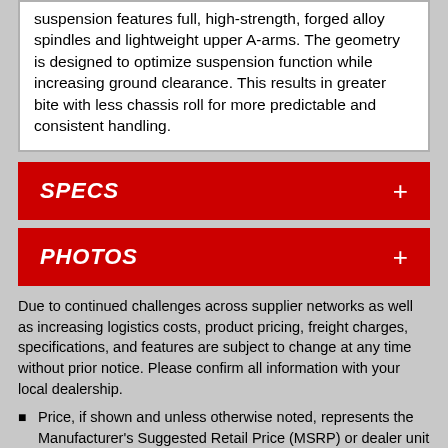suspension features full, high-strength, forged alloy spindles and lightweight upper A-arms. The geometry is designed to optimize suspension function while increasing ground clearance. This results in greater bite with less chassis roll for more predictable and consistent handling.
SPECS
PHOTOS
Due to continued challenges across supplier networks as well as increasing logistics costs, product pricing, freight charges, specifications, and features are subject to change at any time without prior notice. Please confirm all information with your local dealership.
Price, if shown and unless otherwise noted, represents the Manufacturer's Suggested Retail Price (MSRP) or dealer unit price and does not include government fees, taxes, dealer vehicle freight/preparation, dealer document preparation charges, labor, installation, or any